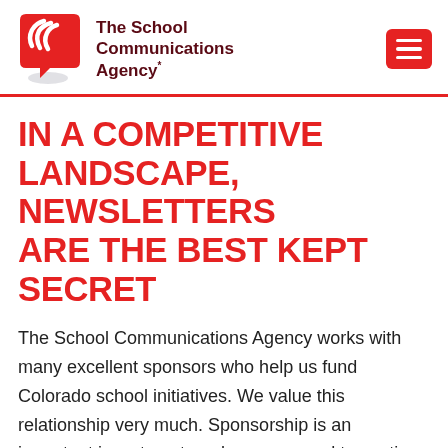[Figure (logo): The School Communications Agency logo: red speech bubble with three white curved arcs inside, with shadow beneath, next to bold dark red text 'The School Communications Agency*' and a red hamburger menu button in the top right corner]
IN A COMPETITIVE LANDSCAPE, NEWSLETTERS ARE THE BEST KEPT SECRET
The School Communications Agency works with many excellent sponsors who help us fund Colorado school initiatives. We value this relationship very much. Sponsorship is an important investment, and we are proud to continue to offer a unique way to reach over 150,000 ...